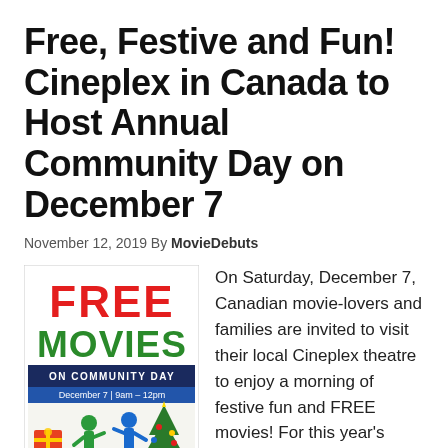Free, Festive and Fun! Cineplex in Canada to Host Annual Community Day on December 7
November 12, 2019 By MovieDebuts
[Figure (illustration): Promotional poster for Cineplex Free Movies on Community Day, December 7, 9am–12pm. Red bold text 'FREE MOVIES' on white background, 'ON COMMUNITY DAY' in dark blue, 'December 7 | 9am – 12pm' below, with colorful cartoon figures of people celebrating with gift boxes and a Christmas tree.]
On Saturday, December 7, Canadian movie-lovers and families are invited to visit their local Cineplex theatre to enjoy a morning of festive fun and FREE movies! For this year's Community Day, Cineplex